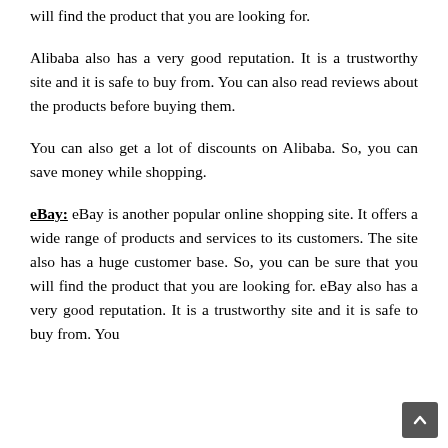will find the product that you are looking for.
Alibaba also has a very good reputation. It is a trustworthy site and it is safe to buy from. You can also read reviews about the products before buying them.
You can also get a lot of discounts on Alibaba. So, you can save money while shopping.
eBay: eBay is another popular online shopping site. It offers a wide range of products and services to its customers. The site also has a huge customer base. So, you can be sure that you will find the product that you are looking for. eBay also has a very good reputation. It is a trustworthy site and it is safe to buy from. You